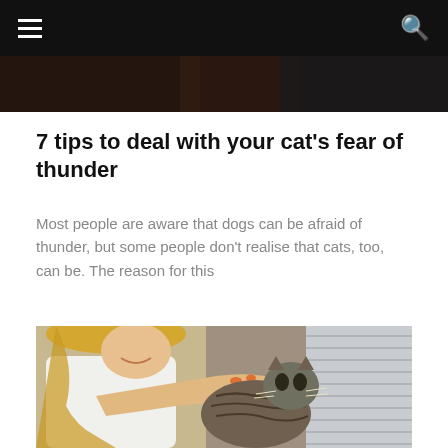≡  🔍
[Figure (photo): Dark strip showing partial image at top of page, appears to be a nighttime or dark-toned scene]
7 tips to deal with your cat's fear of thunder
Most people are aware that dogs can be afraid of thunder, but some people don't realise that cats, too, can be. The reason for this
[Figure (photo): A blonde woman smiling and petting/holding a tabby cat's face with both hands. The cat is looking up. Indoor setting with window blinds visible in background.]